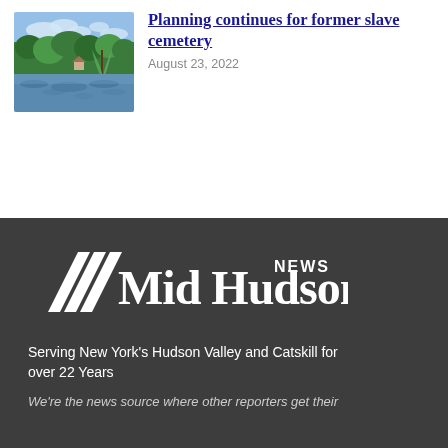[Figure (photo): Landscape photo of a lake or pond with trees and sky reflected in the water]
Planning continues for former slave cemetery
August 23, 2022
[Figure (logo): Mid Hudson News logo — three diagonal stripes and text reading Mid Hudson NEWS on a dark background]
Serving New York's Hudson Valley and Catskill for over 22 Years
We're the news source where other reporters get their